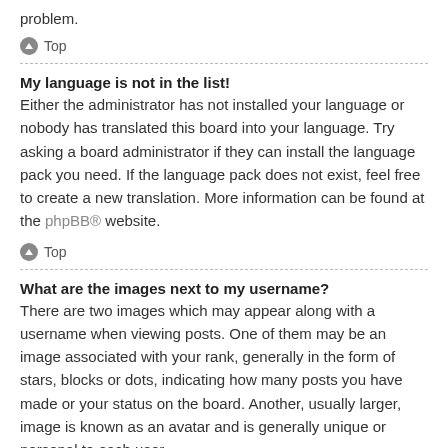problem.
⬆ Top
My language is not in the list!
Either the administrator has not installed your language or nobody has translated this board into your language. Try asking a board administrator if they can install the language pack you need. If the language pack does not exist, feel free to create a new translation. More information can be found at the phpBB® website.
⬆ Top
What are the images next to my username?
There are two images which may appear along with a username when viewing posts. One of them may be an image associated with your rank, generally in the form of stars, blocks or dots, indicating how many posts you have made or your status on the board. Another, usually larger, image is known as an avatar and is generally unique or personal to each user.